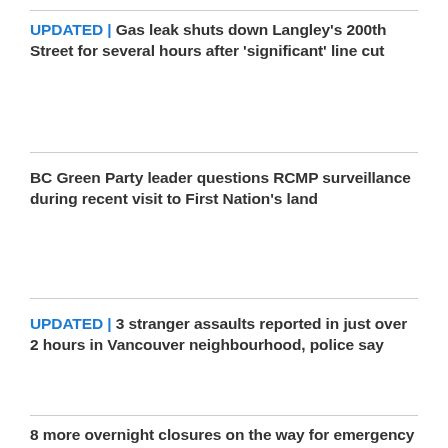UPDATED | Gas leak shuts down Langley's 200th Street for several hours after 'significant' line cut
BC Green Party leader questions RCMP surveillance during recent visit to First Nation's land
UPDATED | 3 stranger assaults reported in just over 2 hours in Vancouver neighbourhood, police say
8 more overnight closures on the way for emergency room in B.C. Interior